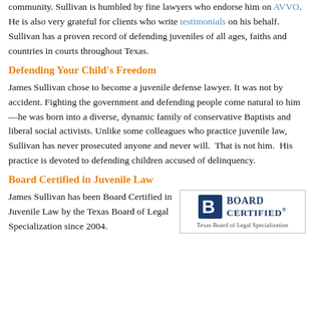community. Sullivan is humbled by fine lawyers who endorse him on AVVO. He is also very grateful for clients who write testimonials on his behalf. Sullivan has a proven record of defending juveniles of all ages, faiths and countries in courts throughout Texas.
Defending Your Child's Freedom
James Sullivan chose to become a juvenile defense lawyer. It was not by accident. Fighting the government and defending people come natural to him—he was born into a diverse, dynamic family of conservative Baptists and liberal social activists. Unlike some colleagues who practice juvenile law, Sullivan has never prosecuted anyone and never will.  That is not him.  His practice is devoted to defending children accused of delinquency.
Board Certified in Juvenile Law
James Sullivan has been Board Certified in Juvenile Law by the Texas Board of Legal Specialization since 2004.
[Figure (logo): Board Certified Texas Board of Legal Specialization logo with stylized B icon]